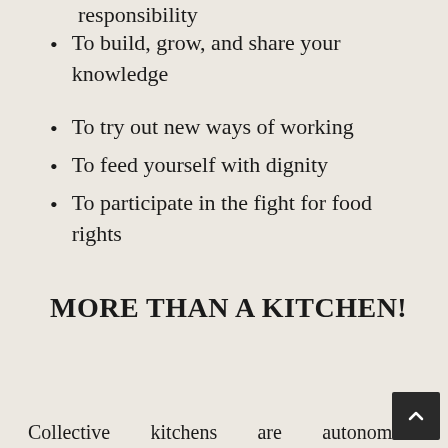responsibility
To build, grow, and share your knowledge
To try out new ways of working
To feed yourself with dignity
To participate in the fight for food rights
MORE THAN A KITCHEN!
Collective kitchens are autonomous